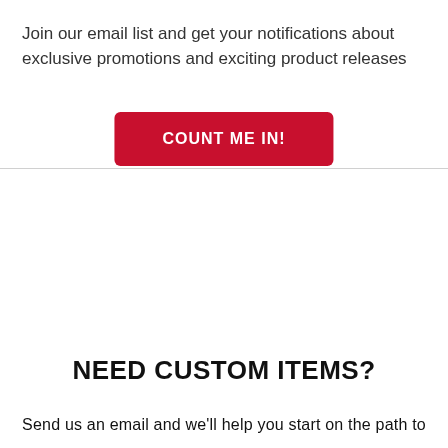Join our email list and get your notifications about exclusive promotions and exciting product releases
COUNT ME IN!
NEED CUSTOM ITEMS?
Send us an email and we'll help you start on the path to your custom items and products